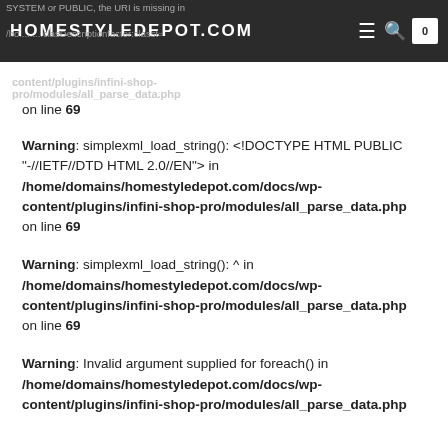HOMESTYLEDEPOT.COM
SYSTEM or PUBLIC, the URI is missing in /home/domains/homestyledepot.com/docs/wp-content/plugins/infini-shop-pro/modules/all_parse_data.php on line 69
Warning: simplexml_load_string(): <!DOCTYPE HTML PUBLIC "-//IETF//DTD HTML 2.0//EN"> in /home/domains/homestyledepot.com/docs/wp-content/plugins/infini-shop-pro/modules/all_parse_data.php on line 69
Warning: simplexml_load_string(): ^ in /home/domains/homestyledepot.com/docs/wp-content/plugins/infini-shop-pro/modules/all_parse_data.php on line 69
Warning: Invalid argument supplied for foreach() in /home/domains/homestyledepot.com/docs/wp-content/plugins/infini-shop-pro/modules/all_parse_data.php